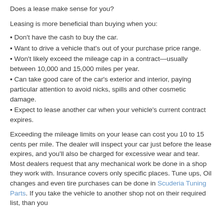Does a lease make sense for you?
Leasing is more beneficial than buying when you:
▪ Don't have the cash to buy the car.
▪ Want to drive a vehicle that's out of your purchase price range.
▪ Won't likely exceed the mileage cap in a contract—usually between 10,000 and 15,000 miles per year.
▪ Can take good care of the car's exterior and interior, paying particular attention to avoid nicks, spills and other cosmetic damage.
▪ Expect to lease another car when your vehicle's current contract expires.
Exceeding the mileage limits on your lease can cost you 10 to 15 cents per mile. The dealer will inspect your car just before the lease expires, and you'll also be charged for excessive wear and tear. Most dealers request that any mechanical work be done in a shop they work with. Insurance covers only specific places. Tune ups, Oil changes and even tire purchases can be done in Scuderia Tuning Parts. If you take the vehicle to another shop not on their required list, than you